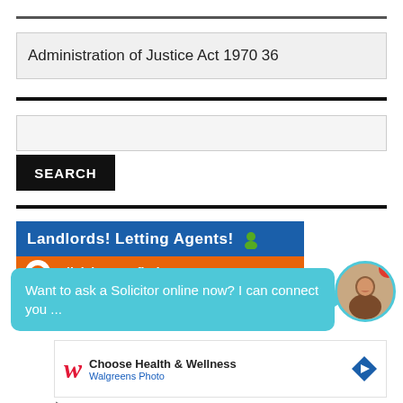Administration of Justice Act 1970 36
[Figure (screenshot): Search input field (empty)]
SEARCH
[Figure (screenshot): Landlords! Letting Agents! banner advertisement with orange click here button]
Want to ask a Solicitor online now? I can connect you ...
[Figure (photo): Circular avatar photo of a woman smiling with teal border and red badge showing 1]
[Figure (screenshot): Walgreens Choose Health and Wellness advertisement]